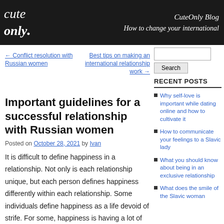CuteOnly Blog — How to change your international
← Conflict resolution with Russian women
Best tips on making an international relationship work →
Important guidelines for a successful relationship with Russian women
Posted on October 28, 2021 by Ivan
It is difficult to define happiness in a relationship. Not only is each relationship unique, but each person defines happiness differently within each relationship. Some individuals define happiness as a life devoid of strife. For some, happiness is having a lot of fun, being close to someone, or laughing a lot.
RECENT POSTS
Why self-love is important while dating online and how to cultivate it
How to communicate your feelings to a Slavic lady
What you should know about being in an exclusive relationship
What does the smile of the Slavic woman